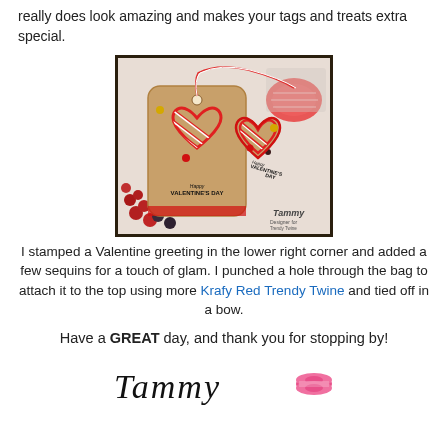really does look amazing and makes your tags and treats extra special.
[Figure (photo): Photo of handmade Valentine's Day gift tags made from kraft paper with red and white striped baker's twine formed into heart shapes, decorated with sequins and small buttons, reading 'Happy Valentine's Day', surrounded by red beads and more twine.]
I stamped a Valentine greeting in the lower right corner and added a few sequins for a touch of glam. I punched a hole through the bag to attach it to the top using more Krafy Red Trendy Twine and tied off in a bow.
Have a GREAT day, and thank you for stopping by!
[Figure (illustration): Handwritten signature reading 'Tammy' with a pink spool of thread/twine icon next to it.]